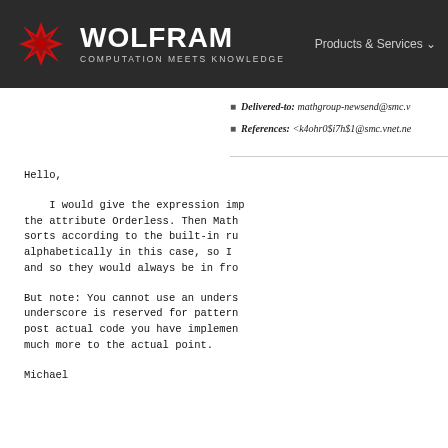WOLFRAM COMPUTATION MEETS KNOWLEDGE | Products & Services
Delivered-to: mathgroup-newsend@smc.v...
References: <k4ohr0$i7h$1@smc.vnet.ne...
Hello,

    I would give the expression imp- the attribute Orderless. Then Math- sorts according to the built-in ru- alphabetically in this case, so I and so they would always be in fro-

But note: You cannot use an unders- underscore is reserved for pattern post actual code you have implemen- much more to the actual point.

Michael